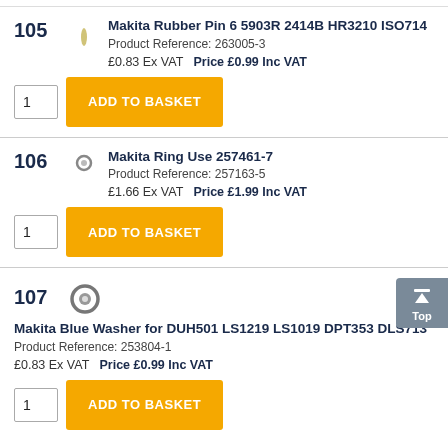105 Makita Rubber Pin 6 5903R 2414B HR3210 ISO714 Product Reference: 263005-3 £0.83 Ex VAT Price £0.99 Inc VAT
106 Makita Ring Use 257461-7 Product Reference: 257163-5 £1.66 Ex VAT Price £1.99 Inc VAT
107 Makita Blue Washer for DUH501 LS1219 LS1019 DPT353 DLS713 Product Reference: 253804-1 £0.83 Ex VAT Price £0.99 Inc VAT